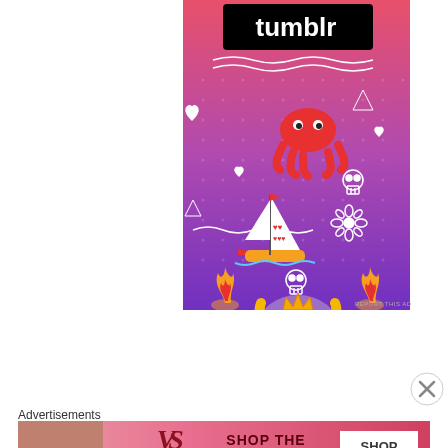[Figure (illustration): Tumblr advertisement banner with pink-to-purple gradient background featuring doodle stickers: red octopus, sailboat, skull, flower, fire, and a yellow character with arms raised. 'tumblr' logo in white/black at top.]
REPORT THIS AD
Search ...
[Figure (illustration): Close/dismiss button circle with X]
Advertisements
[Figure (illustration): Victoria's Secret advertisement banner with pink gradient background, model on left, VS monogram logo, 'SHOP THE COLLECTION' text, and 'SHOP NOW' white button on right.]
REPORT THIS AD